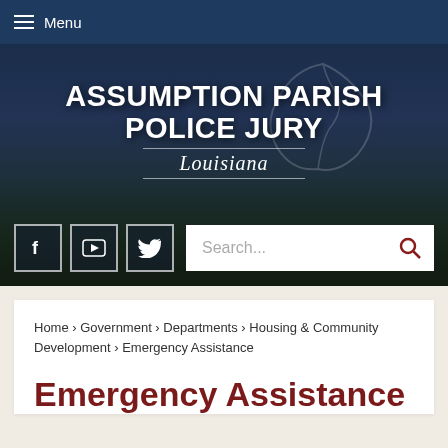Menu
[Figure (screenshot): Assumption Parish Police Jury Louisiana government website header banner with dark blue background, trees silhouette, social media icons (Facebook, YouTube, Twitter), and a search bar]
Home › Government › Departments › Housing & Community Development › Emergency Assistance
Emergency Assistance